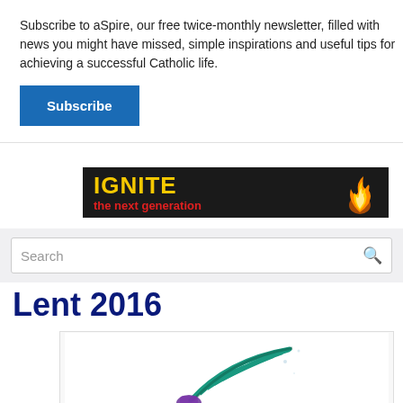Subscribe to aSpire, our free twice-monthly newsletter, filled with news you might have missed, simple inspirations and useful tips for achieving a successful Catholic life.
Subscribe
[Figure (infographic): Dark banner advertisement reading IGNITE the next generation with a flame graphic on a black background. IGNITE in bold yellow, tagline in red.]
[Figure (screenshot): Search bar with placeholder text Search and a magnifying glass icon]
Lent 2016
[Figure (illustration): Lent 2016 logo/illustration showing a stylized hand with a branch of palm/olive leaves in teal/green and purple, Lent cross theme]